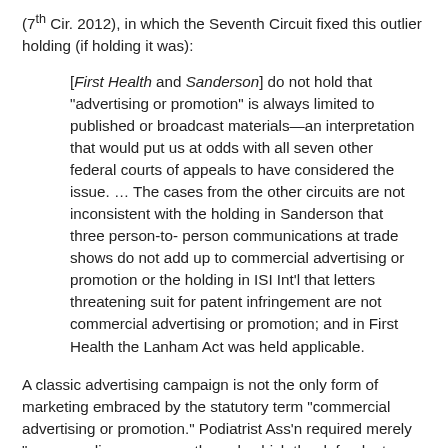(7th Cir. 2012), in which the Seventh Circuit fixed this outlier holding (if holding it was):
[First Health and Sanderson] do not hold that "advertising or promotion" is always limited to published or broadcast materials—an interpretation that would put us at odds with all seven other federal courts of appeals to have considered the issue. … The cases from the other circuits are not inconsistent with the holding in Sanderson that three person-to-person communications at trade shows do not add up to commercial advertising or promotion or the holding in ISI Int'l that letters threatening suit for patent infringement are not commercial advertising or promotion; and in First Health the Lanham Act was held applicable.
A classic advertising campaign is not the only form of marketing embraced by the statutory term "commercial advertising or promotion." Podiatrist Ass'n required merely "some medium or means through which the defendant disseminated